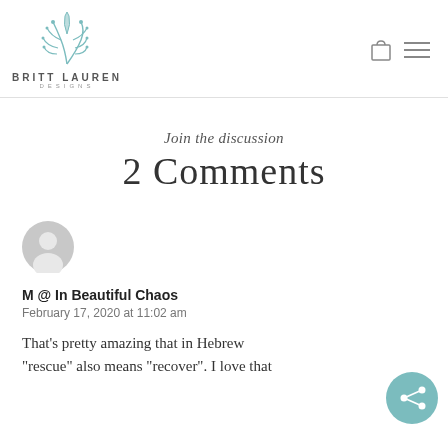BRITT LAUREN DESIGNS
Join the discussion
2 Comments
[Figure (illustration): User avatar circle with silhouette icon in gray]
M @ In Beautiful Chaos
February 17, 2020 at 11:02 am
That’s pretty amazing that in Hebrew “rescue” also means “recover”. I love that